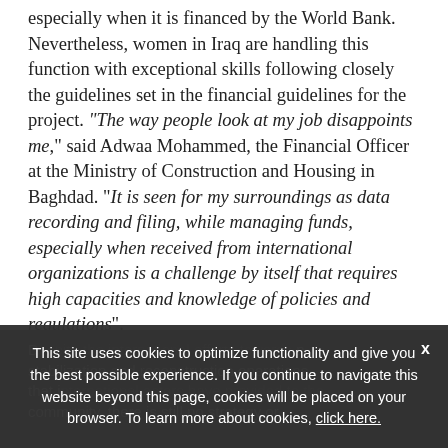especially when it is financed by the World Bank. Nevertheless, women in Iraq are handling this function with exceptional skills following closely the guidelines set in the financial guidelines for the project. “The way people look at my job disappoints me,” said Adwaa Mohammed, the Financial Officer at the Ministry of Construction and Housing in Baghdad. “It is seen for my surroundings as data recording and filing, while managing funds, especially when received from international organizations is a challenge by itself that requires high capacities and knowledge of policies and regulations”.
Despite... stabilization and reconstruction operations, that i... community, there is still no strategy or
This site uses cookies to optimize functionality and give you the best possible experience. If you continue to navigate this website beyond this page, cookies will be placed on your browser. To learn more about cookies, click here.